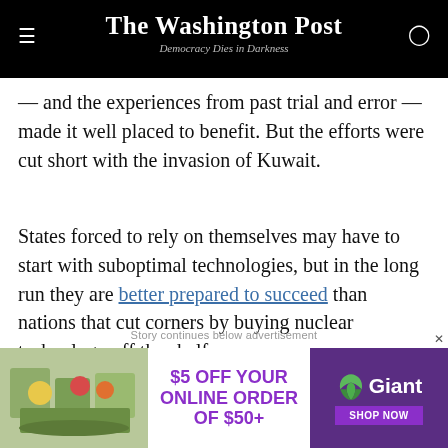The Washington Post — Democracy Dies in Darkness
— and the experiences from past trial and error — made it well placed to benefit. But the efforts were cut short with the invasion of Kuwait.
States forced to rely on themselves may have to start with suboptimal technologies, but in the long run they are better prepared to succeed than nations that cut corners by buying nuclear technology off the shelf.
Story continues below advertisement
[Figure (other): Giant grocery advertisement: $5 OFF YOUR ONLINE ORDER OF $50+, showing groceries and Giant logo with SHOP NOW button]